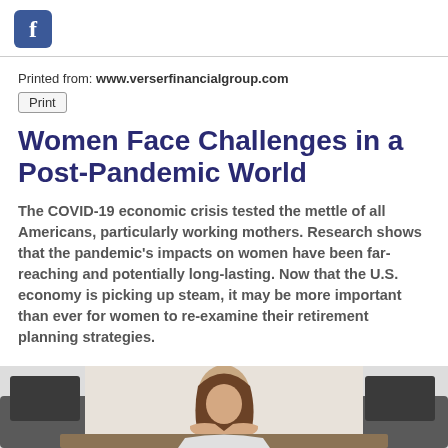f (Facebook icon)
Printed from: www.verserfinancialgroup.com
Print
Women Face Challenges in a Post-Pandemic World
The COVID-19 economic crisis tested the mettle of all Americans, particularly working mothers. Research shows that the pandemic's impacts on women have been far-reaching and potentially long-lasting. Now that the U.S. economy is picking up steam, it may be more important than ever for women to re-examine their retirement planning strategies.
[Figure (photo): A woman sitting at a desk looking stressed or tired, resting her head on her hand, with dark furniture visible in the background.]